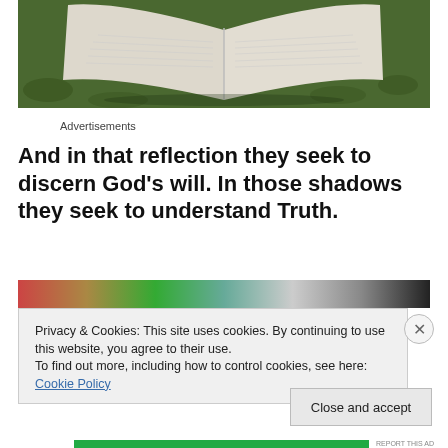[Figure (photo): Open Bible/book lying on grass, viewed from above, pages spread open]
Advertisements
And in that reflection they seek to discern God's will. In those shadows they seek to understand Truth.
[Figure (photo): Colorful image strip at top of second photo]
Privacy & Cookies: This site uses cookies. By continuing to use this website, you agree to their use.
To find out more, including how to control cookies, see here: Cookie Policy